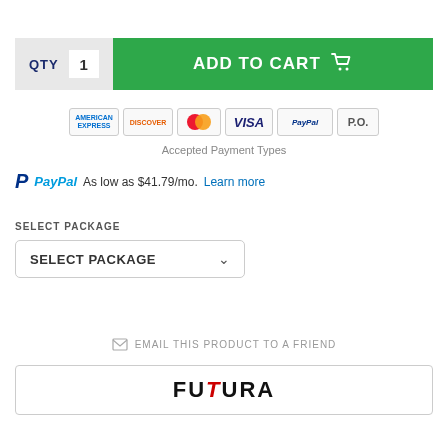[Figure (screenshot): Add to cart bar with QTY 1 field and green ADD TO CART button with shopping cart icon]
[Figure (infographic): Accepted payment type logos: American Express, Discover, Mastercard, Visa, PayPal, P.O.]
Accepted Payment Types
As low as $41.79/mo. Learn more
SELECT PACKAGE
[Figure (screenshot): SELECT PACKAGE dropdown selector]
EMAIL THIS PRODUCT TO A FRIEND
[Figure (logo): FUTURA logo in black and red]